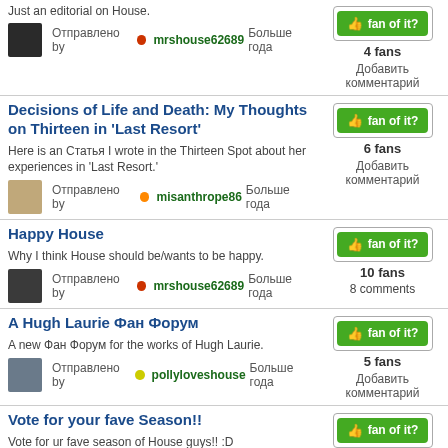Just an editorial on House.
Отправлено by mrshouse62689 Больше года
Decisions of Life and Death: My Thoughts on Thirteen in 'Last Resort'
Here is an Статья I wrote in the Thirteen Spot about her experiences in 'Last Resort.'
Отправлено by misanthrope86 Больше года
Happy House
Why I think House should be/wants to be happy.
Отправлено by mrshouse62689 Больше года
A Hugh Laurie Фан Форум
A new Фан Форум for the works of Hugh Laurie.
Отправлено by pollyloveshouse Больше года
Vote for your fave Season!!
Vote for ur fave season of House guys!! :D
Отправлено by HuddyCrazy1331 Больше года